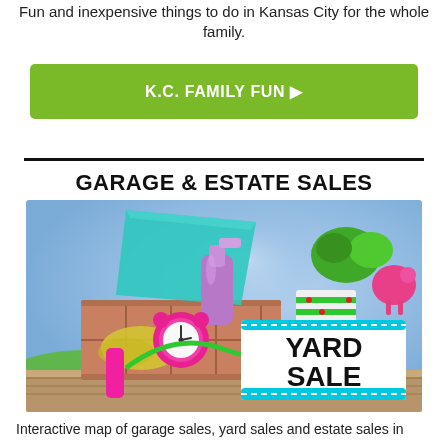Fun and inexpensive things to do in Kansas City for the whole family.
K.C. FAMILY FUN ▶
GARAGE & ESTATE SALES
[Figure (photo): A wooden crate filled with colorful yard sale items including a pink jump rope, alarm clock, spray bottle, yarn, green basket, and plants, with a white YARD SALE sign in the foreground on a wooden surface against a blue background.]
Interactive map of garage sales, yard sales and estate sales in